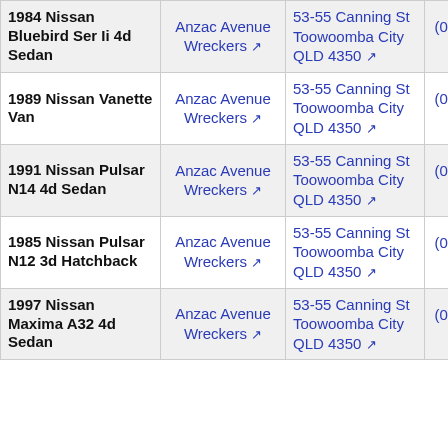| Vehicle | Wrecker | Address | Phone |
| --- | --- | --- | --- |
| 1984 Nissan Bluebird Ser Ii 4d Sedan | Anzac Avenue Wreckers | 53-55 Canning St Toowoomba City QLD 4350 | (07) 4630 1881 |
| 1989 Nissan Vanette Van | Anzac Avenue Wreckers | 53-55 Canning St Toowoomba City QLD 4350 | (07) 4630 1881 |
| 1991 Nissan Pulsar N14 4d Sedan | Anzac Avenue Wreckers | 53-55 Canning St Toowoomba City QLD 4350 | (07) 4630 1881 |
| 1985 Nissan Pulsar N12 3d Hatchback | Anzac Avenue Wreckers | 53-55 Canning St Toowoomba City QLD 4350 | (07) 4630 1881 |
| 1997 Nissan Maxima A32 4d Sedan | Anzac Avenue Wreckers | 53-55 Canning St Toowoomba City QLD 4350 | (07) 4630 1881 |